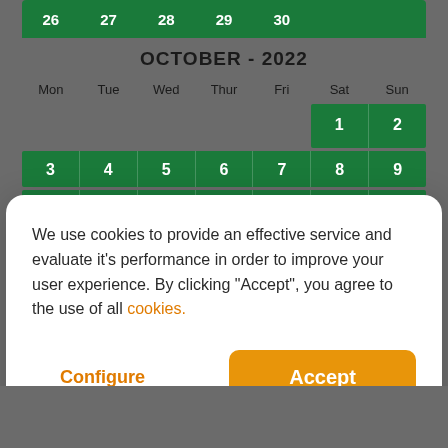[Figure (screenshot): Calendar showing October 2022 with green cells for dates. Top row shows dates 26-30 from previous month. October calendar shows weekday headers Mon-Sun, with dates 1-2 on first row (Saturday-Sunday highlighted), then row 3-9, and partial row beginning with 10.]
We use cookies to provide an effective service and evaluate it's performance in order to improve your user experience. By clicking "Accept", you agree to the use of all cookies.
Configure
Accept